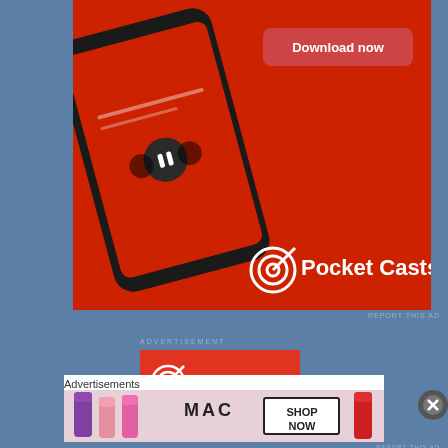[Figure (screenshot): Pocket Casts app advertisement banner on red background showing a smartphone with the app open and a 'Download now' button]
REPORT THIS AD
ADVERTISEMENT
[Figure (screenshot): Pocket Casts logo advertisement on red background with text 'An app by' at bottom]
Advertisements
[Figure (screenshot): MAC cosmetics advertisement showing lipsticks with 'SHOP NOW' button]
REPORT THIS AD